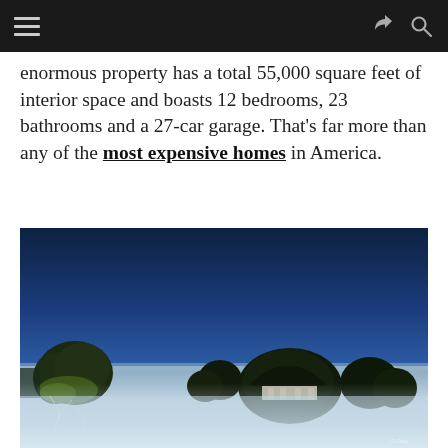[navigation bar with hamburger menu, share icon, and search icon]
enormous property has a total 55,000 square feet of interior space and boasts 12 bedrooms, 23 bathrooms and a 27-car garage. That's far more than any of the most expensive homes in America.
[Figure (photo): Exterior photo of a large luxury estate at dusk/night, showing a deep blue sky with trees and a domed structure silhouetted against the horizon, with a light-colored ground/beach area in the foreground]